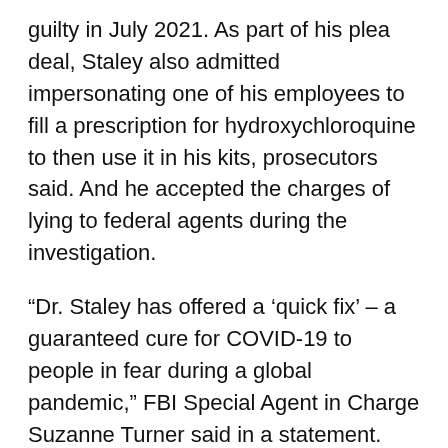guilty in July 2021. As part of his plea deal, Staley also admitted impersonating one of his employees to fill a prescription for hydroxychloroquine to then use it in his kits, prosecutors said. And he accepted the charges of lying to federal agents during the investigation.
“Dr. Staley has offered a ‘quick fix’ – a guaranteed cure for COVID-19 to people in fear during a global pandemic,” FBI Special Agent in Charge Suzanne Turner said in a statement. press when Staley pleaded guilty. “Today Dr Staley admitted it was all a lie as part of a quick money scam.”
As part of his sentencing on Friday, Staley was ordered to pay a $10,000 fine and return the